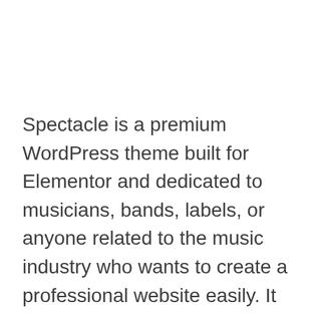Spectacle is a premium WordPress theme built for Elementor and dedicated to musicians, bands, labels, or anyone related to the music industry who wants to create a professional website easily. It includes everything you need: Discography, Tour Dates, Playlist Manager, Store, Video, etc. It is made simple and functional out of the box, yet offer high customization for advanced users to create their ideal website for the